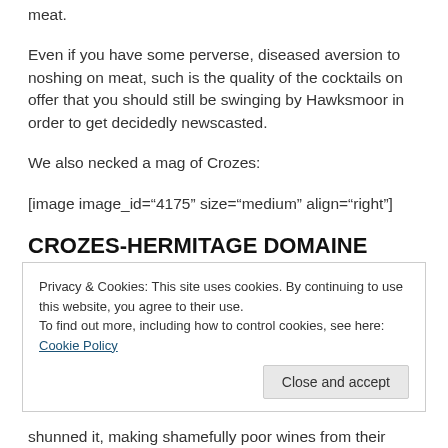meat.
Even if you have some perverse, diseased aversion to noshing on meat, such is the quality of the cocktails on offer that you should still be swinging by Hawksmoor in order to get decidedly newscasted.
We also necked a mag of Crozes:
[image image_id="4175" size="medium" align="right"]
CROZES-HERMITAGE DOMAINE THALABERT 2006, PAUL JABOULET-
Privacy & Cookies: This site uses cookies. By continuing to use this website, you agree to their use.
To find out more, including how to control cookies, see here: Cookie Policy
shunned it, making shamefully poor wines from their